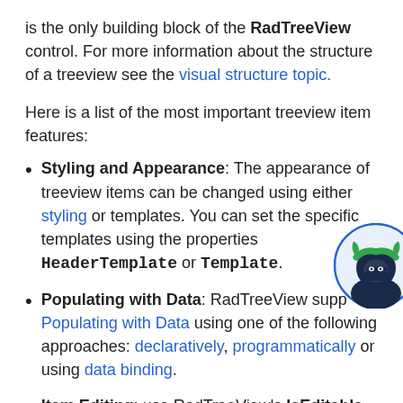is the only building block of the RadTreeView control. For more information about the structure of a treeview see the visual structure topic.
Here is a list of the most important treeview item features:
Styling and Appearance: The appearance of treeview items can be changed using either styling or templates. You can set the specific templates using the properties HeaderTemplate or Template.
Populating with Data: RadTreeView supports Populating with Data using one of the following approaches: declaratively, programmatically or using data binding.
Item Editing: use RadTreeView's IsEditable property to enable/disable this behavior. Press
[Figure (illustration): A ninja mascot avatar in a circular frame with blue border, wearing a dark blue hoodie and green headband, set against a light background.]